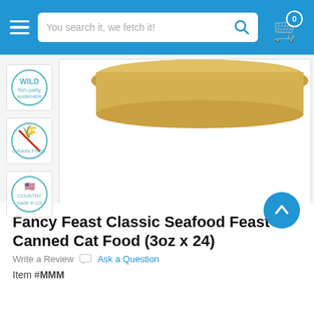You search it, we fetch it!
[Figure (photo): Bottom rim of a gold/yellow Fancy Feast cat food can on white background]
[Figure (illustration): Thumbnail badge: fish/polly sustainable icon]
[Figure (illustration): Thumbnail badge: grain free icon]
[Figure (illustration): Thumbnail badge: country/USA made icon]
Fancy Feast Classic Seafood Feast Canned Cat Food (3oz x 24)
Write a Review  Ask a Question